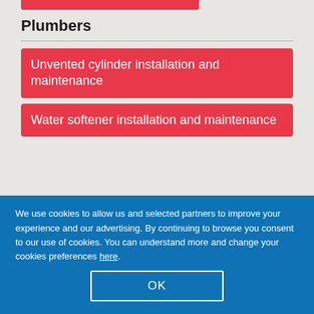Plumbers
Unvented cylinder installation and maintenance
Water softener installation and maintenance
We use cookies to allow us and selected partners to improve your experience and our advertising. By continuing to browse you consent to our use of cookies. You can understand more and change your cookies preferences here.
OK